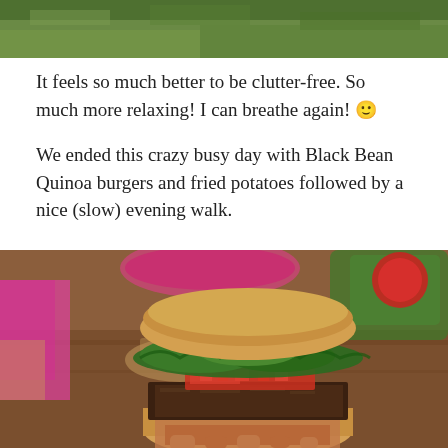[Figure (photo): Top portion of an outdoor photo, showing green grass and a blurred scene, cropped at the bottom of the image frame.]
It feels so much better to be clutter-free. So much more relaxing! I can breathe again! 🙂
We ended this crazy busy day with Black Bean Quinoa burgers and fried potatoes followed by a nice (slow) evening walk.
[Figure (photo): A person holding a Black Bean Quinoa burger with green lettuce, tomato salsa, and a bun. Background shows a table with food items including a packaged salad. A child in pink is partially visible on the left.]